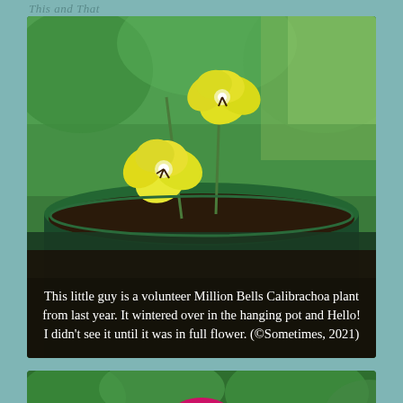This and That
[Figure (photo): Two small yellow pansy/viola flowers growing in a dark green hanging pot, with a green garden background. White text overlay reads: This little guy is a volunteer Million Bells Calibrachoa plant from last year. It wintered over in the hanging pot and Hello! I didn’t see it until it was in full flower. (©Sometimes, 2021)]
[Figure (photo): A bright pink/magenta rose in full bloom surrounded by green leaves.]